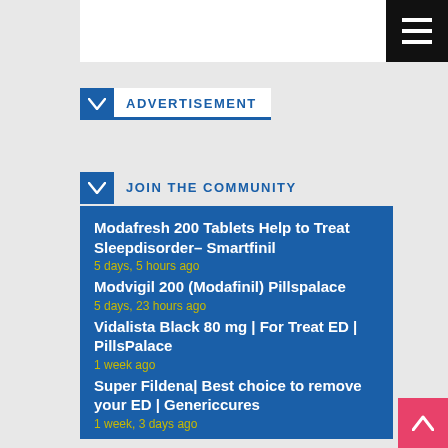ADVERTISEMENT
JOIN THE COMMUNITY
Modafresh 200 Tablets Help to Treat Sleepdisorder– Smartfinil
5 days, 5 hours ago
Modvigil 200 (Modafinil) Pillspalace
5 days, 23 hours ago
Vidalista Black 80 mg | For Treat ED | PillsPalace
1 week ago
Super Fildena| Best choice to remove your ED | Genericcures
1 week, 3 days ago